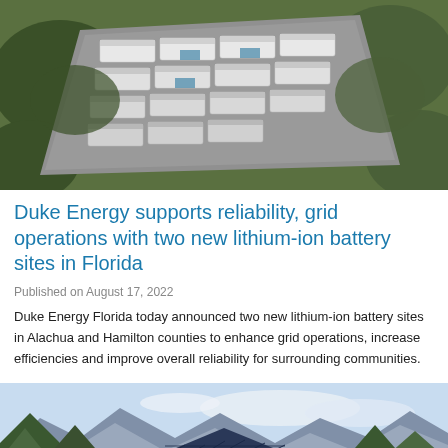[Figure (photo): Aerial view of a lithium-ion battery storage site with rows of white rectangular battery containers on a paved surface surrounded by vegetation]
Duke Energy supports reliability, grid operations with two new lithium-ion battery sites in Florida
Published on August 17, 2022
Duke Energy Florida today announced two new lithium-ion battery sites in Alachua and Hamilton counties to enhance grid operations, increase efficiencies and improve overall reliability for surrounding communities.
[Figure (photo): Photo of a house with solar panels on the roof with mountains and blue sky in the background, trees visible on the left side]